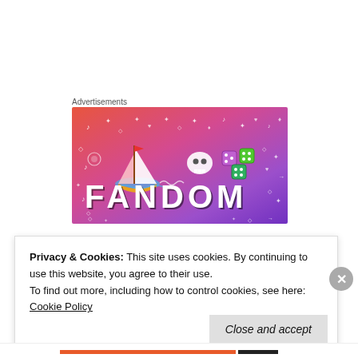Advertisements
[Figure (photo): Fandom brand advertisement banner with gradient background (orange to purple), showing a sailboat illustration, skull icon, dice icons, and large bold text reading FANDOM with shadow effect, plus white doodle decorations throughout]
[Figure (photo): Partial photo of people in a room, appearing to be a classroom or meeting setting with blurred figures]
Privacy & Cookies: This site uses cookies. By continuing to use this website, you agree to their use.
To find out more, including how to control cookies, see here:
Cookie Policy
Close and accept